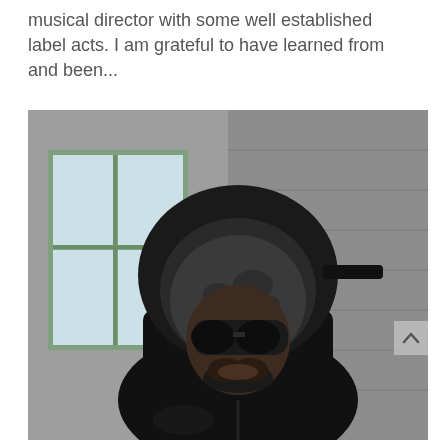musical director with some well established label acts. I am grateful to have learned from and been...
[Figure (photo): A person wearing a black hooded jacket and dark sunglasses, standing in front of a building with green-framed windows and a stone/brick wall. The image is taken outdoors in what appears to be an urban setting.]